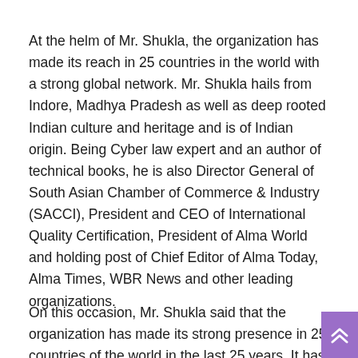At the helm of Mr. Shukla, the organization has made its reach in 25 countries in the world with a strong global network. Mr. Shukla hails from Indore, Madhya Pradesh as well as deep rooted Indian culture and heritage and is of Indian origin. Being Cyber law expert and an author of technical books, he is also Director General of South Asian Chamber of Commerce & Industry (SACCI), President and CEO of International Quality Certification, President of Alma World and holding post of Chief Editor of Alma Today, Alma Times, WBR News and other leading organizations.
On this occasion, Mr. Shukla said that the organization has made its strong presence in 25 countries of the world in the last 25 years. It has...